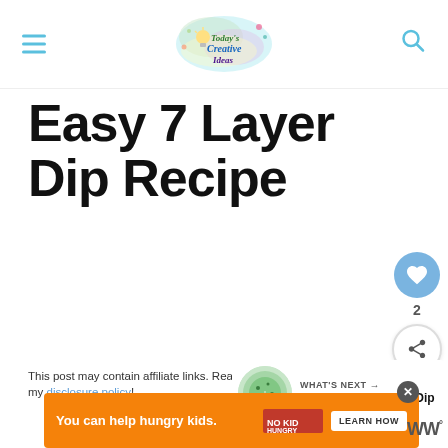Today's Creative Ideas — navigation header with hamburger menu and search icon
Easy 7 Layer Dip Recipe
This post may contain affiliate links. Read my disclosure policy!
[Figure (other): What's Next panel showing a round image of White Chicken Chili Dip with text 'WHAT'S NEXT → White Chicken Chili Dip']
[Figure (other): Shop My Faves banner with teal arrows and large gray watermark text]
[Figure (other): Orange advertisement banner: 'You can help hungry kids.' with No Kid Hungry logo and LEARN HOW button, with close X button]